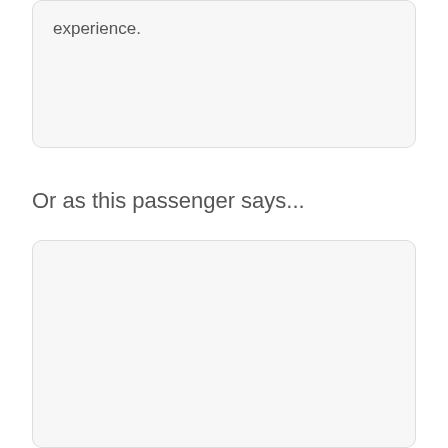…world. But don't expect the same experience.
Or as this passenger says…
[Figure (other): Empty light gray rounded card placeholder box]